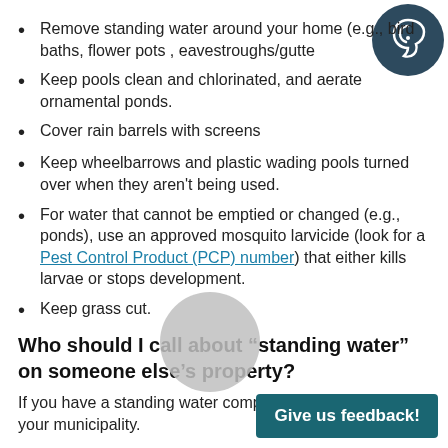Remove standing water around your home (e.g., bird baths, flower pots , eavestroughs/gutters)
Keep pools clean and chlorinated, and aerate ornamental ponds.
Cover rain barrels with screens
Keep wheelbarrows and plastic wading pools turned over when they aren't being used.
For water that cannot be emptied or changed (e.g., ponds), use an approved mosquito larvicide (look for a Pest Control Product (PCP) number) that either kills larvae or stops development.
Keep grass cut.
Who should I call about “standing water” on someone else’s property?
If you have a standing water complaint, please contact your municipality.
[Figure (illustration): Dark teal circle with white ear icon representing audio/accessibility feature]
[Figure (illustration): Gray circle overlay near bottom center of page]
Give us feedback!